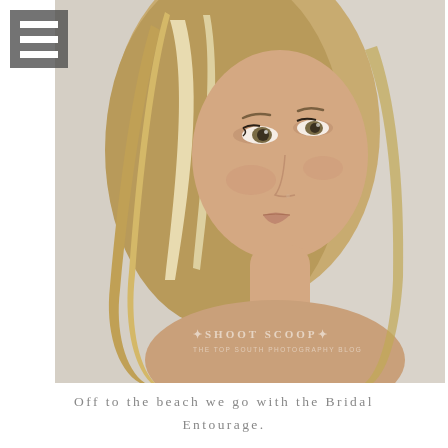[Figure (photo): Close-up portrait of a blonde woman with long wavy hair, looking slightly off-camera, bare shoulders, soft focus background. Watermark reads: SHOOT SCOOP / THE TOP SOUTH PHOTOGRAPHY BLOG]
Off to the beach we go with the Bridal Entourage.